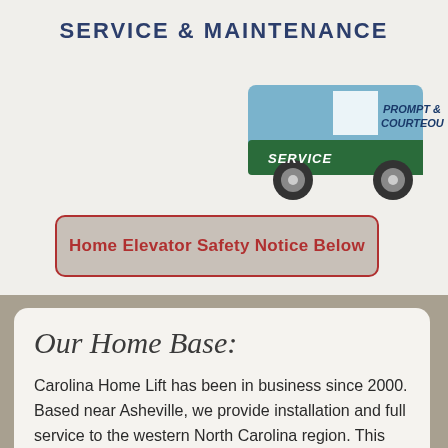SERVICE & MAINTENANCE
[Figure (illustration): Illustration of a service van (blue and green) partially visible in top-right corner with text 'PROMPT & COURTEOUS SERVICE']
Home Elevator Safety Notice Below
Our Home Base:
Carolina Home Lift has been in business since 2000. Based near Asheville, we provide installation and full service to the western North Carolina region.  This includes western Tennessee and upstate South Carolina.